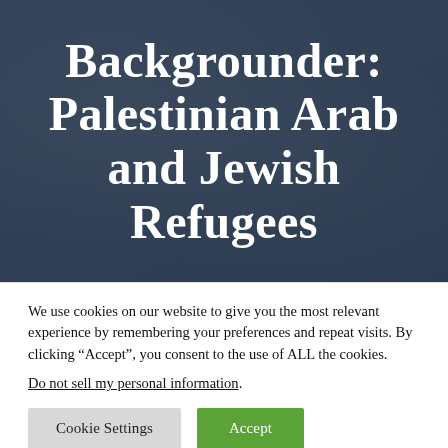Backgrounder: Palestinian Arab and Jewish Refugees
We use cookies on our website to give you the most relevant experience by remembering your preferences and repeat visits. By clicking “Accept”, you consent to the use of ALL the cookies.
Do not sell my personal information.